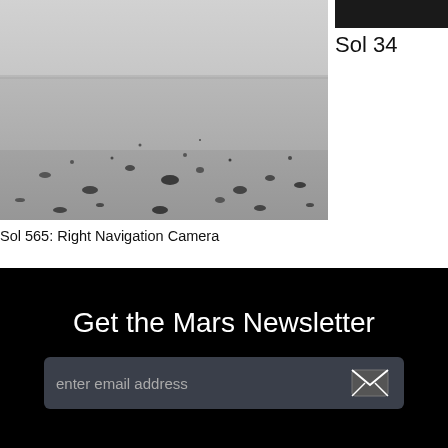[Figure (photo): Black and white photograph of Mars surface taken by the Right Navigation Camera on Sol 565, showing rocky terrain with scattered pebbles and dust.]
Sol 34
Sol 565: Right Navigation Camera
Get the Mars Newsletter
enter email address